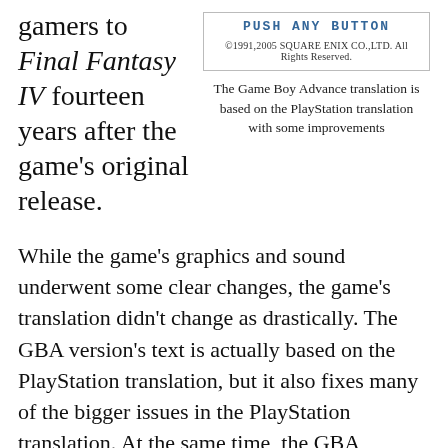gamers to Final Fantasy IV fourteen years after the game's original release.
[Figure (screenshot): Game Boy Advance title screen showing 'PUSH ANY BUTTON' and copyright: ©1991,2005 SQUARE ENIX CO.,LTD. All Rights Reserved.]
The Game Boy Advance translation is based on the PlayStation translation with some improvements
While the game's graphics and sound underwent some clear changes, the game's translation didn't change as drastically. The GBA version's text is actually based on the PlayStation translation, but it also fixes many of the bigger issues in the PlayStation translation. At the same time, the GBA translation introduces potential new problems of its own, from added pop culture references to sloppy text editing mistakes.